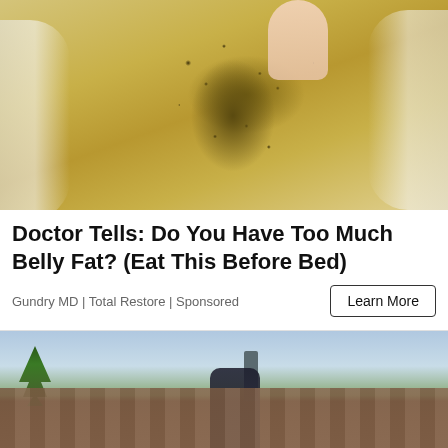[Figure (photo): Close-up photo of a hand holding a translucent gel/patch with dark brown specks and granular material concentrated in the center, over a glass bowl]
Doctor Tells: Do You Have Too Much Belly Fat? (Eat This Before Bed)
Gundry MD | Total Restore | Sponsored
[Figure (photo): Photo of a rooftop scene with bare trees in background, a chimney, and a person in dark clothing visible on or near the roof]